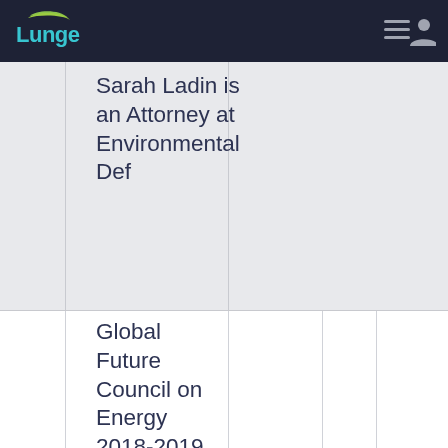Lunge
Sarah Ladin is an Attorney at Environmental Def
Global Future Council on Energy 2018-2019 Accelerating acces